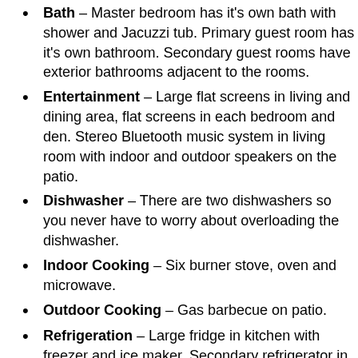Bath – Master bedroom has it's own bath with shower and Jacuzzi tub. Primary guest room has it's own bathroom. Secondary guest rooms have exterior bathrooms adjacent to the rooms.
Entertainment – Large flat screens in living and dining area, flat screens in each bedroom and den. Stereo Bluetooth music system in living room with indoor and outdoor speakers on the patio.
Dishwasher – There are two dishwashers so you never have to worry about overloading the dishwasher.
Indoor Cooking – Six burner stove, oven and microwave.
Outdoor Cooking – Gas barbecue on patio.
Refrigeration – Large fridge in kitchen with freezer and ice maker. Secondary refrigerator in garage.
Communications – Telephone, WiFi wireless internet.
Patio/Lanai – Patio adjacent to living / dining area via two large glass sliders. Patio directly adjacent